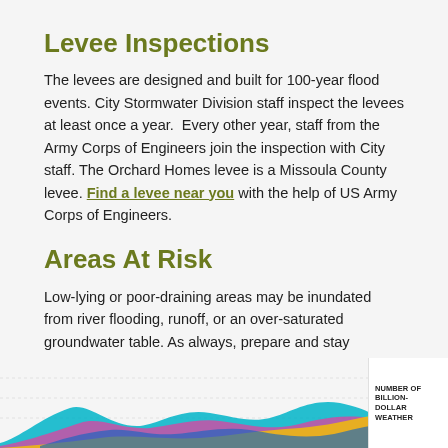Levee Inspections
The levees are designed and built for 100-year flood events. City Stormwater Division staff inspect the levees at least once a year.  Every other year, staff from the Army Corps of Engineers join the inspection with City staff. The Orchard Homes levee is a Missoula County levee. Find a levee near you with the help of US Army Corps of Engineers.
Areas At Risk
Low-lying or poor-draining areas may be inundated from river flooding, runoff, or an over-saturated groundwater table. As always, prepare and stay informed for coming flood conditions. See the links below.
[Figure (area-chart): Partial view of a multi-colored area chart showing number of billion-dollar weather events over time. Chart is cropped at the bottom of the page.]